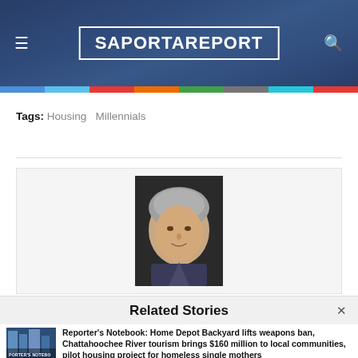SaportaReport
Tags: Housing  Millennials
[Figure (photo): Headshot of a person with gray hair against a dark background, shown in an author profile box with light border]
Related Stories
Reporter's Notebook: Home Depot Backyard lifts weapons ban, Chattahoochee River tourism brings $160 million to local communities, pilot housing project for homeless single mothers